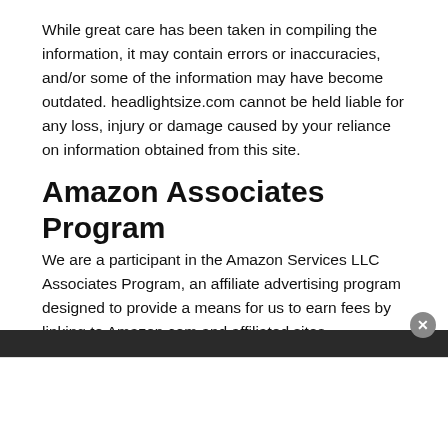While great care has been taken in compiling the information, it may contain errors or inaccuracies, and/or some of the information may have become outdated. headlightsize.com cannot be held liable for any loss, injury or damage caused by your reliance on information obtained from this site.
Amazon Associates Program
We are a participant in the Amazon Services LLC Associates Program, an affiliate advertising program designed to provide a means for us to earn fees by linking to Amazon.com and affiliated sites.